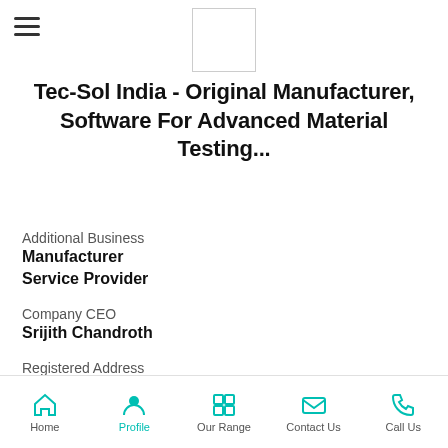[Figure (logo): Company logo placeholder box (white rectangle with border)]
Tec-Sol India - Original Manufacturer, Software For Advanced Material Testing...
Additional Business
Manufacturer
Service Provider
Company CEO
Srijith Chandroth
Registered Address
No. 53, IV Cross Street, Thirumalai Nagar,
Home | Profile | Our Range | Contact Us | Call Us